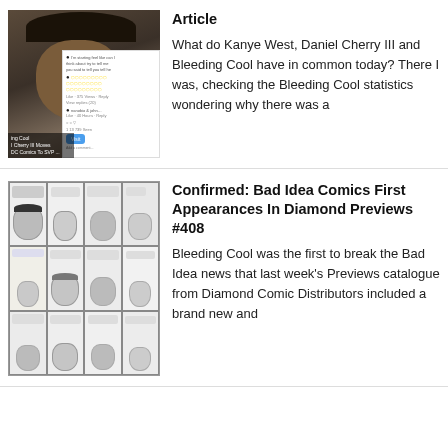[Figure (screenshot): Card with photo of man wearing hat alongside social media screenshot overlay, with caption about Daniel Cherry III and DC Comics]
Article
What do Kanye West, Daniel Cherry III and Bleeding Cool have in common today? There I was, checking the Bleeding Cool statistics wondering why there was a
[Figure (illustration): Black and white comic book panel grid showing various characters]
Confirmed: Bad Idea Comics First Appearances In Diamond Previews #408
Bleeding Cool was the first to break the Bad Idea news that last week's Previews catalogue from Diamond Comic Distributors included a brand new and